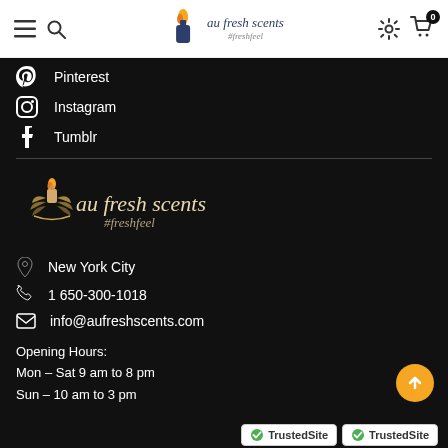[Figure (logo): Au Fresh Scents website navigation bar with hamburger menu, search icon, au fresh scents logo, settings gear icon, and cart icon with 0 badge]
Pinterest
Instagram
Tumblr
[Figure (logo): Au Fresh Scents logo - candle with leaves design, text 'au fresh scents #freshfeel' in white/gold on black background]
New York City
1 650-300-1018
info@aufreshscents.com
Opening Hours:
Mon – Sat 9 am to 8 pm
Sun – 10 am to 3 pm
[Figure (logo): Two TrustedSite badges with green checkmarks]
[Figure (other): Orange back-to-top circular button with upward arrow]